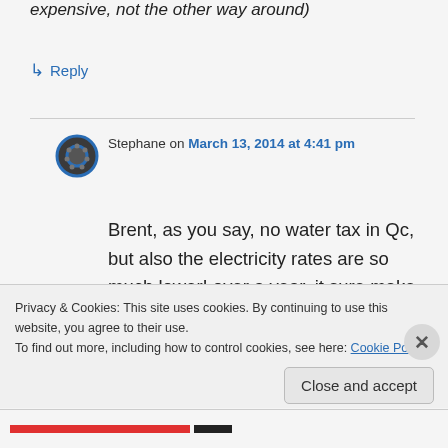expensive, not the other way around)
↳ Reply
Stephane on March 13, 2014 at 4:41 pm
Brent, as you say, no water tax in Qc, but also the electricity rates are so much lower! over a year, it sure make a big difference if one use
Privacy & Cookies: This site uses cookies. By continuing to use this website, you agree to their use.
To find out more, including how to control cookies, see here: Cookie Policy
Close and accept